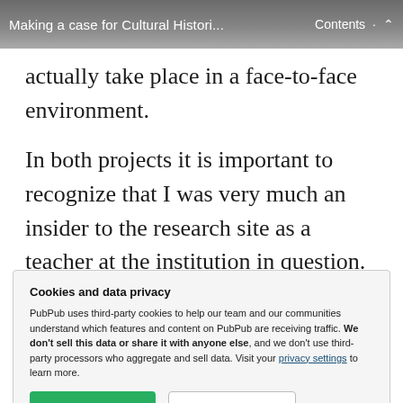Making a case for Cultural Histori...   Contents
actually take place in a face-to-face environment.
In both projects it is important to recognize that I was very much an insider to the research site as a teacher at the institution in question. There were of course advantages to this. As an actor
Cookies and data privacy
PubPub uses third-party cookies to help our team and our communities understand which features and content on PubPub are receiving traffic. We don't sell this data or share it with anyone else, and we don't use third-party processors who aggregate and sell data. Visit your privacy settings to learn more.
prohibitively long time to acquire